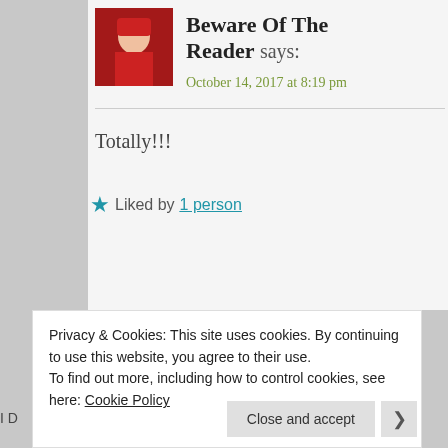[Figure (photo): Avatar photo of Beware Of The Reader user showing a red-themed character or illustration]
Beware Of The Reader says:
October 14, 2017 at 8:19 pm
Totally!!!
★ Liked by 1 person
Privacy & Cookies: This site uses cookies. By continuing to use this website, you agree to their use.
To find out more, including how to control cookies, see here: Cookie Policy
Close and accept